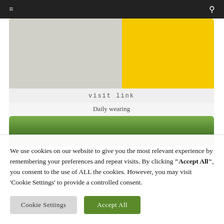≡  🔍
[Figure (photo): Fashion photo of a person in a white sweater with a pendant necklace, posed against a bright yellow background]
visit link
Daily wearing
[Figure (photo): Partial view of a lush green garden with plants and foliage]
We use cookies on our website to give you the most relevant experience by remembering your preferences and repeat visits. By clicking "Accept All", you consent to the use of ALL the cookies. However, you may visit 'Cookie Settings' to provide a controlled consent.
Cookie Settings  Accept All